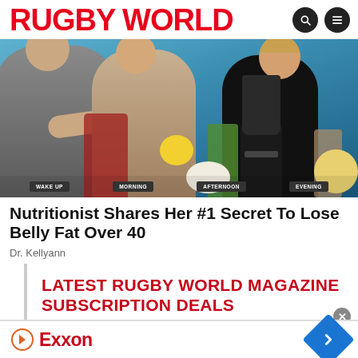RUGBY WORLD
[Figure (photo): TV show or cooking segment with two women standing behind a table covered with food items including strawberries, lemons, green smoothie, blender, and other ingredients. Labels at the bottom read WAKE UP, MORNING, AFTERNOON, EVENING.]
Nutritionist Shares Her #1 Secret To Lose Belly Fat Over 40
Dr. Kellyann
LATEST RUGBY WORLD MAGAZINE SUBSCRIPTION DEALS
[Figure (logo): Exxon logo with navigation arrow diamond icon - advertisement banner]